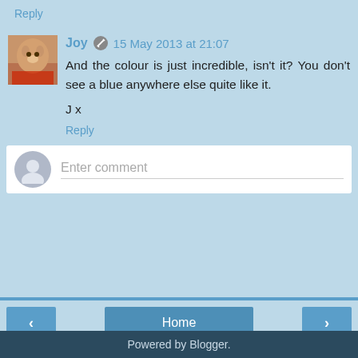Reply
Joy  15 May 2013 at 21:07
And the colour is just incredible, isn't it? You don't see a blue anywhere else quite like it.

J x
Reply
Enter comment
Home
View web version
Powered by Blogger.